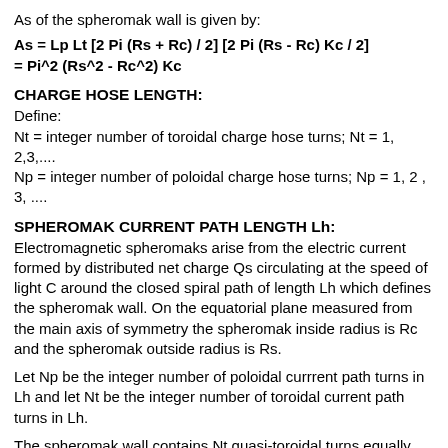As of the spheromak wall is given by:
As = Lp Lt [2 Pi (Rs + Rc) / 2] [2 Pi (Rs - Rc) Kc / 2]
= Pi^2 (Rs^2 - Rc^2) Kc
CHARGE HOSE LENGTH:
Define:
Nt = integer number of toroidal charge hose turns; Nt = 1, 2,3,....
Np = integer number of poloidal charge hose turns; Np = 1, 2 , 3, ....
SPHEROMAK CURRENT PATH LENGTH Lh:
Electromagnetic spheromaks arise from the electric current formed by distributed net charge Qs circulating at the speed of light C around the closed spiral path of length Lh which defines the spheromak wall. On the equatorial plane measured from the main axis of symmetry the spheromak inside radius is Rc and the spheromak outside radius is Rs.
Let Np be the integer number of poloidal currrent path turns in Lh and let Nt be the integer number of toroidal current path turns in Lh.
The spheromak wall contains Nt quasi-toroidal turns equally